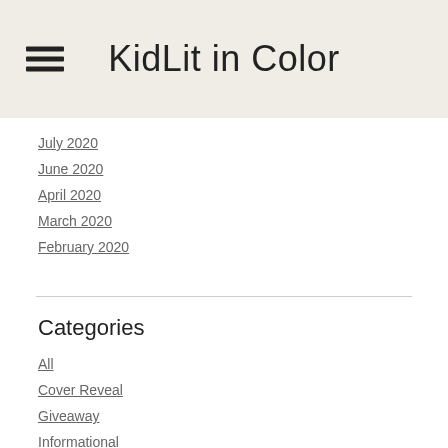KidLit in Color
July 2020
June 2020
April 2020
March 2020
February 2020
Categories
All
Cover Reveal
Giveaway
Informational
Interview
KidLit In Color
World Read Aloud Day
Writing Advice